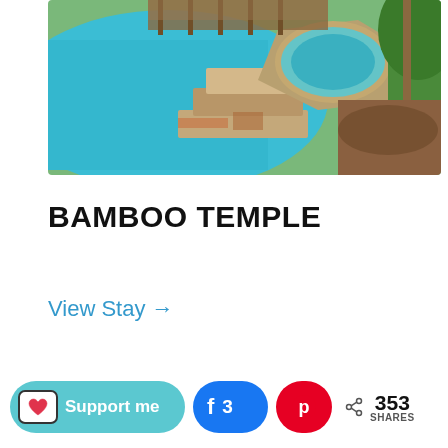[Figure (photo): Aerial view of a luxury pool area with stone steps leading to an elevated hot tub/spa, surrounded by lush greenery and wooden structure in background]
BAMBOO TEMPLE
View Stay →
[Figure (infographic): Bottom social sharing bar with Support me (Ko-fi) button in teal, Facebook share button showing 3 likes, Pinterest button, and share count showing 353 SHARES]